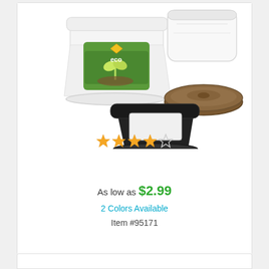[Figure (photo): Product photo showing eco plant grow kit components: white plastic pot with eco label and seedling graphic, white sealed bag, brown peat disk/pellet, and black plastic pot with window.]
★★★★☆
As low as $2.99
2 Colors Available
Item #95171